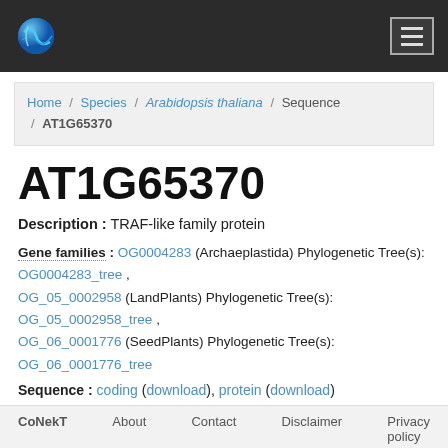CoNekT — navigation bar with logo and hamburger menu
Home / Species / Arabidopsis thaliana / Sequence / AT1G65370
AT1G65370
Description : TRAF-like family protein
Gene families : OG0004283 (Archaeplastida) Phylogenetic Tree(s): OG0004283_tree , OG_05_0002958 (LandPlants) Phylogenetic Tree(s): OG_05_0002958_tree , OG_06_0001776 (SeedPlants) Phylogenetic Tree(s): OG_06_0001776_tree
Sequence : coding (download), protein (download)
CoNekT   About   Contact   Disclaimer   Privacy policy